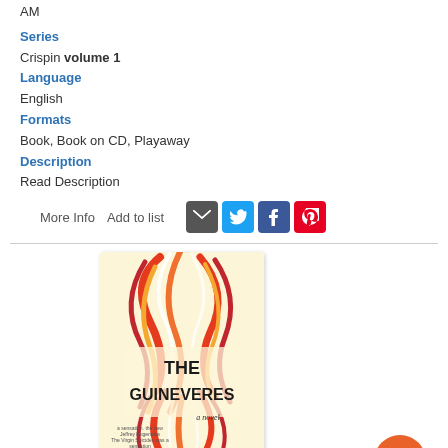AM
Series
Crispin volume 1
Language
English
Formats
Book, Book on CD, Playaway
Description
Read Description
More Info   Add to list
[Figure (illustration): Book cover of 'The Guineveres' by Sarah Domet — cream background with swirling red, orange, and white flame/feather motifs. Title in large black text, subtitle 'a novel' in smaller text.]
[Figure (other): Five-star rating row (empty stars)]